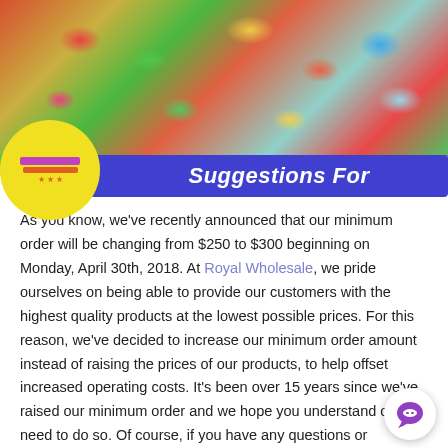[Figure (photo): Colorful candy/sweets photo from above, with a yellow circular logo on left and a blue banner reading 'Suggestions For' on the right]
As you know, we've recently announced that our minimum order will be changing from $250 to $300 beginning on Monday, April 30th, 2018. At Royal Wholesale, we pride ourselves on being able to provide our customers with the highest quality products at the lowest possible prices. For this reason, we've decided to increase our minimum order amount instead of raising the prices of our products, to help offset increased operating costs. It's been over 15 years since we've raised our minimum order and we hope you understand our need to do so. Of course, if you have any questions or concerns regarding this change, please feel free to contact us. In the meantime, below are some suggestions to assist you in meeting the new minimum order. As always, we thank you for shopping Royal Wholesale and greatly appreciate your patronage.